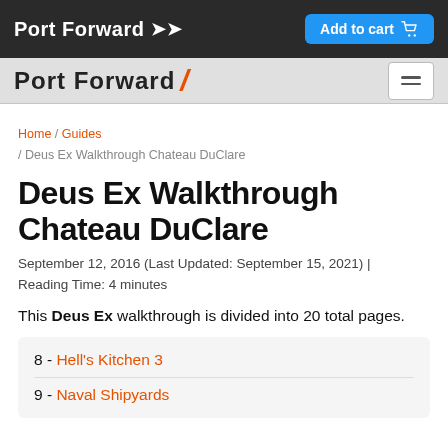Port Forward >> | Add to cart
[Figure (logo): Port Forward logo with orange slash and hamburger menu icon on gray sub-header bar]
Home / Guides / Deus Ex Walkthrough Chateau DuClare
Deus Ex Walkthrough Chateau DuClare
September 12, 2016 (Last Updated: September 15, 2021) | Reading Time: 4 minutes
This Deus Ex walkthrough is divided into 20 total pages.
8 - Hell's Kitchen 3
9 - Naval Shipyards